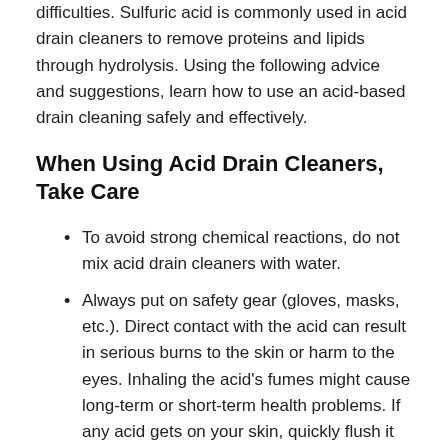difficulties. Sulfuric acid is commonly used in acid drain cleaners to remove proteins and lipids through hydrolysis. Using the following advice and suggestions, learn how to use an acid-based drain cleaning safely and effectively.
When Using Acid Drain Cleaners, Take Care
To avoid strong chemical reactions, do not mix acid drain cleaners with water.
Always put on safety gear (gloves, masks, etc.). Direct contact with the acid can result in serious burns to the skin or harm to the eyes. Inhaling the acid's fumes might cause long-term or short-term health problems. If any acid gets on your skin, quickly flush it with water.
To avoid chemical reactions, acid drain cleaners should be slowly introduced into the pipe.